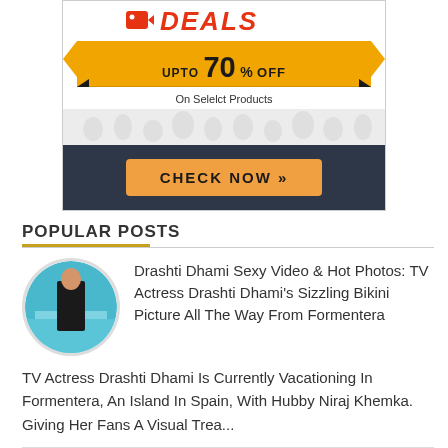[Figure (infographic): Advertisement banner showing 'DEALS' logo with 'UPTO 70% OFF On Select Products' ribbon, crowd silhouettes, and a 'CHECK NOW »' button on dark background]
POPULAR POSTS
[Figure (photo): Circular thumbnail photo of a woman at a beach/ocean in a bikini]
Drashti Dhami Sexy Video & Hot Photos: TV Actress Drashti Dhami's Sizzling Bikini Picture All The Way From Formentera
TV Actress Drashti Dhami Is Currently Vacationing In Formentera, An Island In Spain, With Hubby Niraj Khemka. Giving Her Fans A Visual Trea...